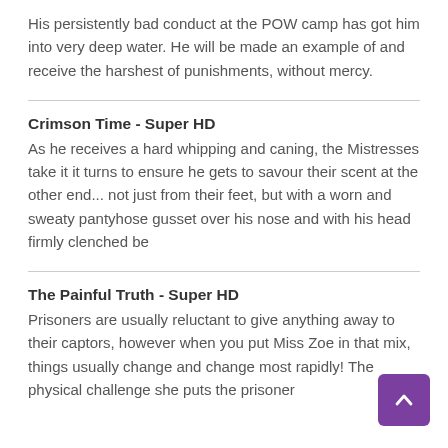His persistently bad conduct at the POW camp has got him into very deep water. He will be made an example of and receive the harshest of punishments, without mercy.
Crimson Time - Super HD
As he receives a hard whipping and caning, the Mistresses take it it turns to ensure he gets to savour their scent at the other end... not just from their feet, but with a worn and sweaty pantyhose gusset over his nose and with his head firmly clenched be
The Painful Truth - Super HD
Prisoners are usually reluctant to give anything away to their captors, however when you put Miss Zoe in that mix, things usually change and change most rapidly! The physical challenge she puts the prisoner